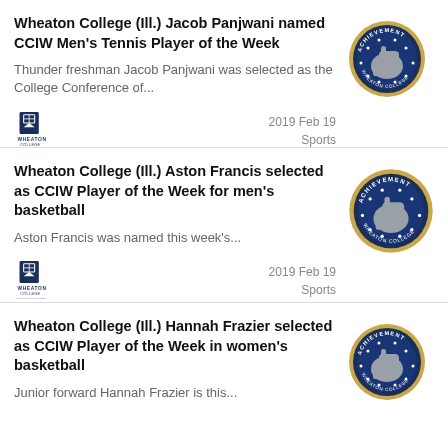Wheaton College (Ill.) Jacob Panjwani named CCIW Men's Tennis Player of the Week
Thunder freshman Jacob Panjwani was selected as the College Conference of...
2019 Feb 19
Sports
Wheaton College (Ill.) Aston Francis selected as CCIW Player of the Week for men's basketball
Aston Francis was named this week's...
2019 Feb 19
Sports
Wheaton College (Ill.) Hannah Frazier selected as CCIW Player of the Week in women's basketball
Junior forward Hannah Frazier is this...